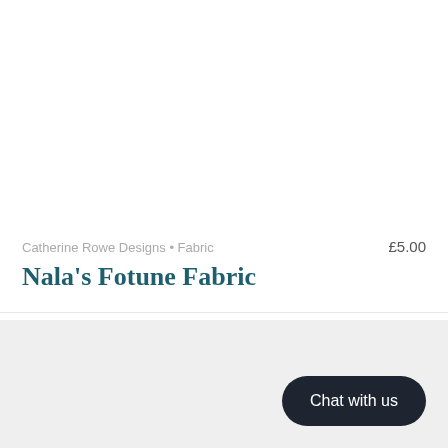[Figure (photo): White blank product image area in upper portion of page]
Catherine Rowe Designs • Fabric
£5.00
Nala's Fotune Fabric
Chat with us